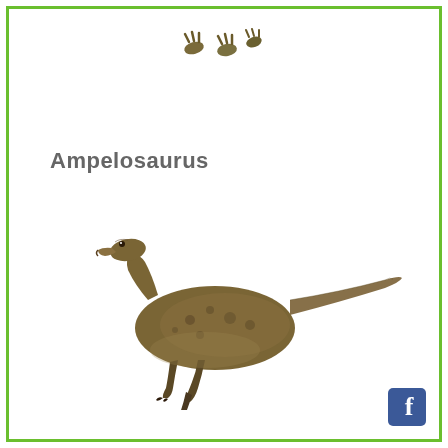[Figure (illustration): Small dinosaur feet / footprints illustration at top of page]
Ampelosaurus
[Figure (illustration): Side-view illustration of Ampelosaurus dinosaur, bipedal, with long neck and tail, brownish-olive coloring with dark spots]
[Figure (logo): Facebook logo button, green rounded square with white 'f']